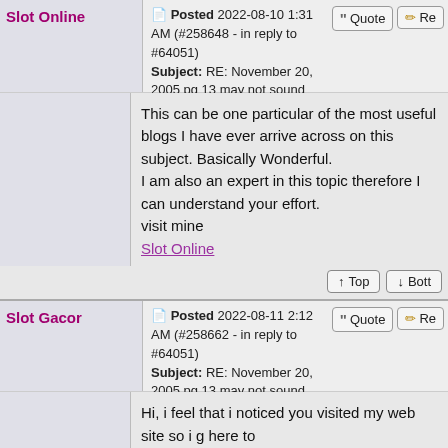Slot Online
Posted 2022-08-10 1:31 AM (#258648 - in reply to #64051)
Subject: RE: November 20, 2005 pg 13 may not sound 'spiritual', yet Truth must include honesty~ n'est-ce pas?
This can be one particular of the most useful blogs I have ever arrive across on this subject. Basically Wonderful.
I am also an expert in this topic therefore I can understand your effort.
visit mine
Slot Online
Slot Gacor
Posted 2022-08-11 2:12 AM (#258662 - in reply to #64051)
Subject: RE: November 20, 2005 pg 13 may not sound 'spiritual', yet Truth must include honesty~ n'est-ce pas?
Hi, i feel that i noticed you visited my web site so i go here to
?return the choose?.I'm attempting to to find issues to improve my web site!
I guess its ok to use a few of your ideas!!
Feel free to surf to my web-site : Slot Gacor